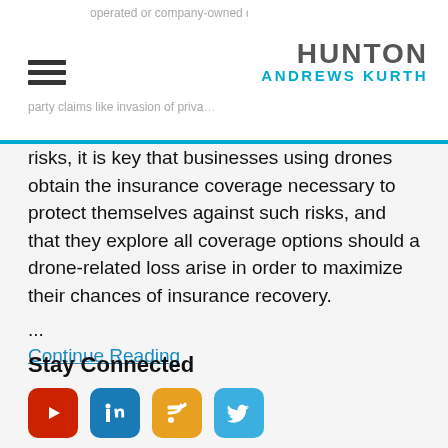operated or company-owned dro... party claims like invasion of priva...
risks, it is key that businesses using drones obtain the insurance coverage necessary to protect themselves against such risks, and that they explore all coverage options should a drone-related loss arise in order to maximize their chances of insurance recovery.
...
Continue Reading
Stay Connected